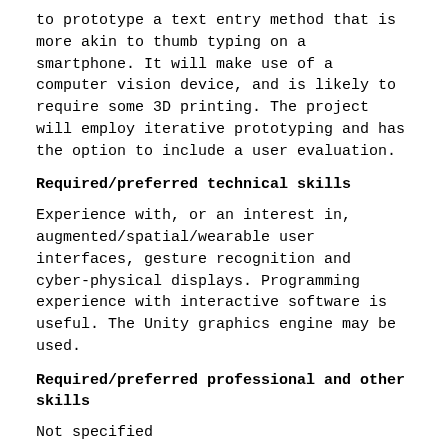to prototype a text entry method that is more akin to thumb typing on a smartphone. It will make use of a computer vision device, and is likely to require some 3D printing. The project will employ iterative prototyping and has the option to include a user evaluation.
Required/preferred technical skills
Experience with, or an interest in, augmented/spatial/wearable user interfaces, gesture recognition and cyber-physical displays. Programming experience with interactive software is useful. The Unity graphics engine may be used.
Required/preferred professional and other skills
Not specified
Delivery Mode